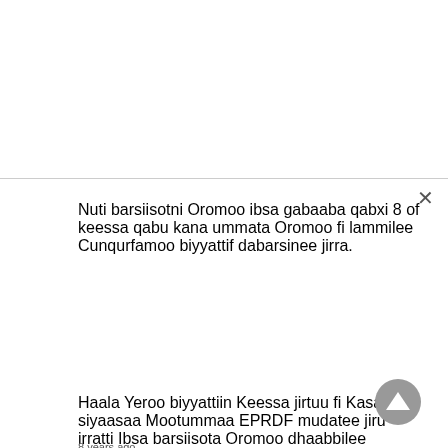Nuti barsiisotni Oromoo ibsa gabaaba qabxi 8 of keessa qabu kana ummata Oromoo fi lammilee Cunqurfamoo biyyattif dabarsinee jirra.
Haala Yeroo biyyattiin Keessa jirtuu fi Kasaaraa siyaasaa Mootummaa EPRDF mudatee jiru irratti Ibsa barsiisota Oromoo dhaabbilee bararnoota Olaanoo Yuunibarsiitota…
8 years ago